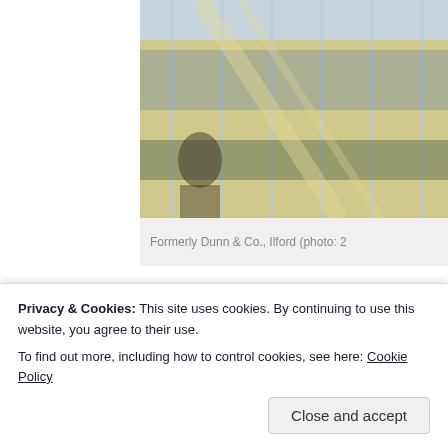[Figure (photo): Partial photo of a building facade with glass windows, formerly Dunn & Co., Ilford]
Formerly Dunn & Co., Ilford (photo: 2...
Getting your team on the same page is easy. And free.
[Figure (illustration): Three circular avatar photos of people and a blue circle with a plus sign]
Privacy & Cookies: This site uses cookies. By continuing to use this website, you agree to their use.
To find out more, including how to control cookies, see here: Cookie Policy
Close and accept